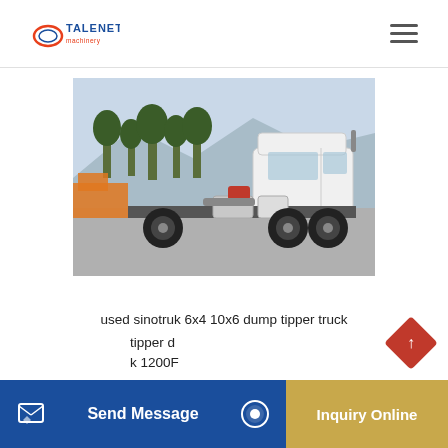TALENET
[Figure (photo): White Sinotruk heavy duty truck/tractor unit parked on a concrete surface, side view, with trees and other vehicles in the background.]
used sinotruk 6x4 10x6 dump tipper truck
tipper d
k 1200F
Send Message
Inquiry Online